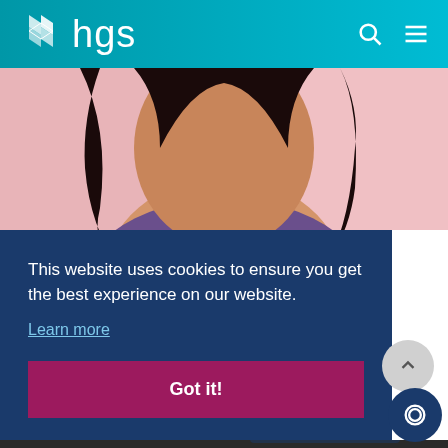hgs
[Figure (photo): Woman with dark hair wearing a purple cowl-neck top, photographed from shoulders up against a pink background]
This website uses cookies to ensure you get the best experience on our website.
Learn more
Got it!
[Figure (photo): Partial bottom strip showing hands on a device/keyboard]